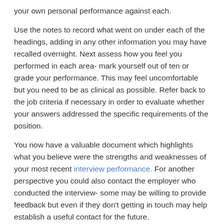your own personal performance against each.
Use the notes to record what went on under each of the headings, adding in any other information you may have recalled overnight. Next assess how you feel you performed in each area- mark yourself out of ten or grade your performance. This may feel uncomfortable but you need to be as clinical as possible. Refer back to the job criteria if necessary in order to evaluate whether your answers addressed the specific requirements of the position.
You now have a valuable document which highlights what you believe were the strengths and weaknesses of your most recent interview performance. For another perspective you could also contact the employer who conducted the interview- some may be willing to provide feedback but even if they don't getting in touch may help establish a useful contact for the future.
Stage 3- Implementing lessons learned
If you are committed to securing employment or changing jobs, the likelihood is you will be going to subsequent interviews.